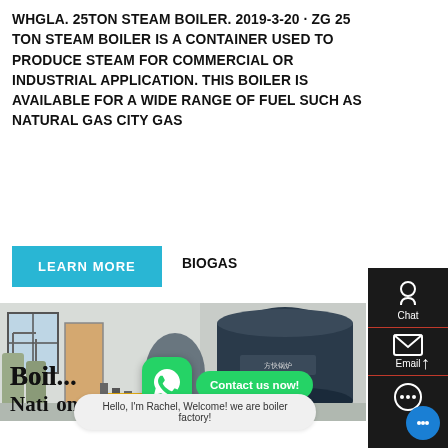WHGLA. 25TON STEAM BOILER. 2019-3-20 · ZG 25 TON STEAM BOILER IS A CONTAINER USED TO PRODUCE STEAM FOR COMMERCIAL OR INDUSTRIAL APPLICATION. THIS BOILER IS AVAILABLE FOR A WIDE RANGE OF FUEL SUCH AS NATURAL GAS CITY GAS BIOGAS
[Figure (photo): Industrial boiler room with two large dark cylindrical steam boilers, water treatment tanks on the left, piping, and equipment in a factory setting. WhatsApp icon and 'Contact us now!' bubble overlaid.]
Boiler Factory For Sale Nationwide Boiler Inc.
Hello, I'm Rachel, Welcome! we are boiler factory!